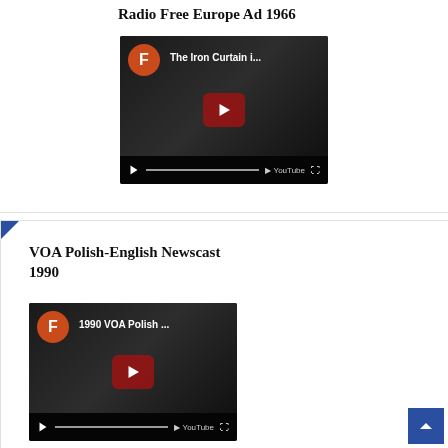Radio Free Europe Ad 1966
[Figure (screenshot): YouTube video thumbnail for 'The Iron Curtain i...' with orange F avatar, dark background with play button, YouTube logo and controls bar at bottom]
VOA Polish-English Newscast 1990
[Figure (screenshot): YouTube video thumbnail for '1990 VOA Polish ...' with orange F avatar, dark background with play button, YouTube logo and controls bar at bottom]